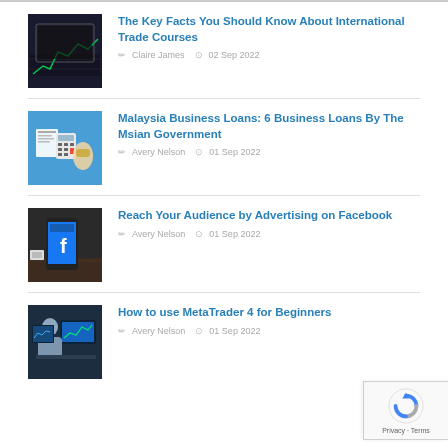The Key Facts You Should Know About International Trade Courses — Claire James — 02 Sep 2022
Malaysia Business Loans: 6 Business Loans By The Msian Government — Avery Nelson — 01 Sep 2022
Reach Your Audience by Advertising on Facebook — Avery Nelson — 01 Sep 2022
How to use MetaTrader 4 for Beginners — Avery Nelson — 01 Sep 2022